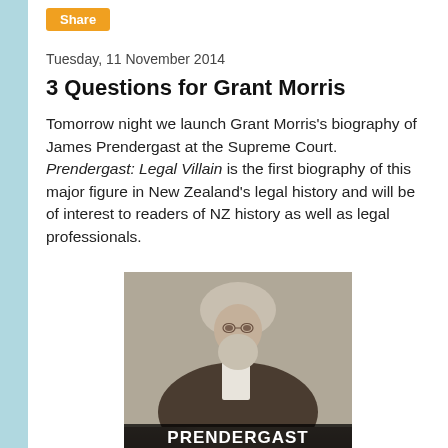Share
Tuesday, 11 November 2014
3 Questions for Grant Morris
Tomorrow night we launch Grant Morris's biography of James Prendergast at the Supreme Court. Prendergast: Legal Villain is the first biography of this major figure in New Zealand's legal history and will be of interest to readers of NZ history as well as legal professionals.
[Figure (photo): Historical black and white portrait photograph of James Prendergast in judicial robes and wig, with a beard, with the text PRENDERGAST overlaid at the bottom of the image.]